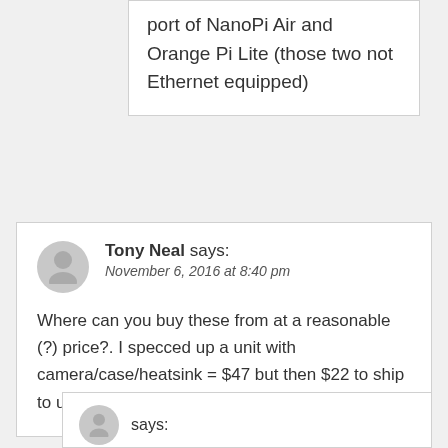port of NanoPi Air and Orange Pi Lite (those two not Ethernet equipped)
Tony Neal says: November 6, 2016 at 8:40 pm
Where can you buy these from at a reasonable (?) price?. I specced up a unit with camera/case/heatsink = $47 but then $22 to ship to uk….
says: